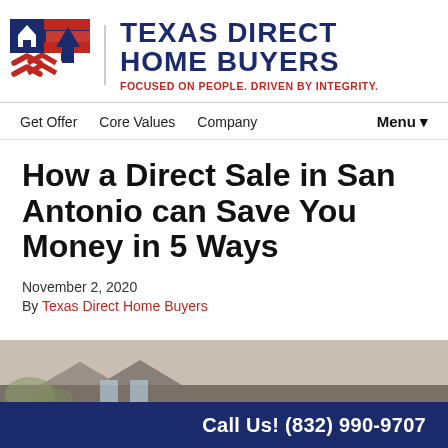[Figure (logo): Texas Direct Home Buyers logo with red and blue chevron/house icon, text 'TEXAS DIRECT HOME BUYERS' in dark navy, and tagline 'FOCUSED ON PEOPLE. DRIVEN BY INTEGRITY.' in red]
Get Offer   Core Values   Company   Menu▼
How a Direct Sale in San Antonio can Save You Money in 5 Ways
November 2, 2020
By Texas Direct Home Buyers
[Figure (photo): Partial view of a house roof or real estate related image]
Call Us! (832) 990-9707